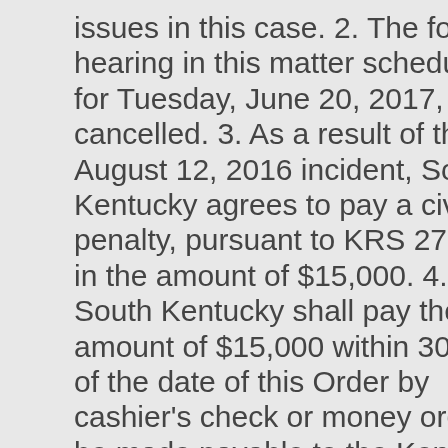issues in this case. 2. The formal hearing in this matter scheduled for Tuesday, June 20, 2017, is cancelled. 3. As a result of the August 12, 2016 incident, South Kentucky agrees to pay a civil penalty, pursuant to KRS 278.990, in the amount of $15,000. 4. South Kentucky shall pay the amount of $15,000 within 30 days of the date of this Order by cashier's check or money order to be made payable to the Kentucky State Treasurer and to be mailed or delivered to the Public Service Commission, Office of General Counsel, 211 Sower Boulevard, P.O. Box 615, Frankfort, KY 40602. 5. South